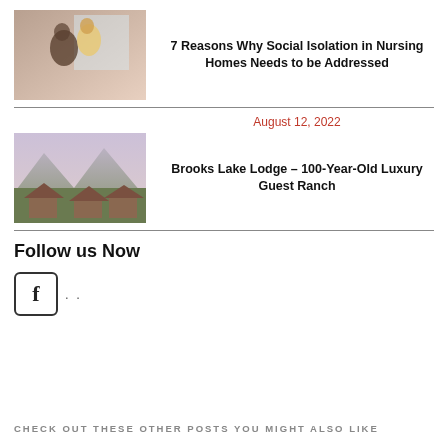[Figure (photo): Two elderly people sitting by a window, one in a yellow sweater]
7 Reasons Why Social Isolation in Nursing Homes Needs to be Addressed
August 12, 2022
[Figure (photo): Scenic mountain landscape with log cabin lodge buildings and pine trees]
Brooks Lake Lodge – 100-Year-Old Luxury Guest Ranch
Follow us Now
[Figure (other): Facebook icon button with 'f' logo in a rounded square, followed by two dots]
CHECK OUT THESE OTHER POSTS YOU MIGHT ALSO LIKE